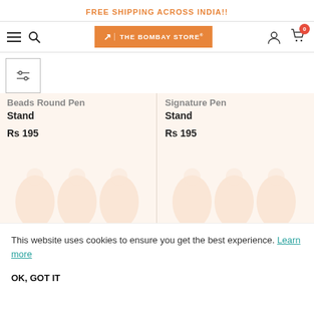FREE SHIPPING ACROSS INDIA!!
[Figure (screenshot): The Bombay Store navigation bar with hamburger menu, search icon, orange logo button, user icon, and cart icon with badge showing 0]
[Figure (other): Filter/settings icon in a bordered box]
Beads Round Pen Stand
Rs 195
Signature Pen Stand
Rs 195
This website uses cookies to ensure you get the best experience. Learn more
OK, GOT IT